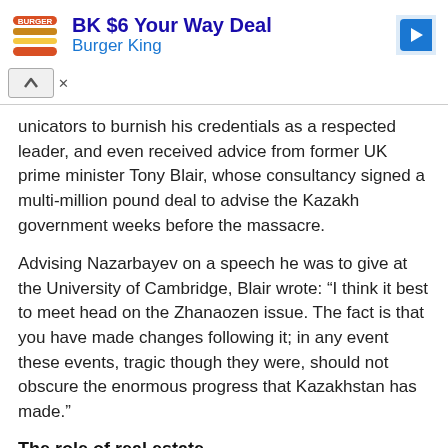[Figure (other): Burger King advertisement banner with BK logo, arrow icon, and 'Burger King' text link. Includes a close/collapse button with up-arrow and X controls.]
unicators to burnish his credentials as a respected leader, and even received advice from former UK prime minister Tony Blair, whose consultancy signed a multi-million pound deal to advise the Kazakh government weeks before the massacre.
Advising Nazarbayev on a speech he was to give at the University of Cambridge, Blair wrote: “I think it best to meet head on the Zhanaozen issue. The fact is that you have made changes following it; in any event these events, tragic though they were, should not obscure the enormous progress that Kazakhstan has made.”
The role of real estate
Yet the book has a wider lens than events in one Central Asian autocracy.